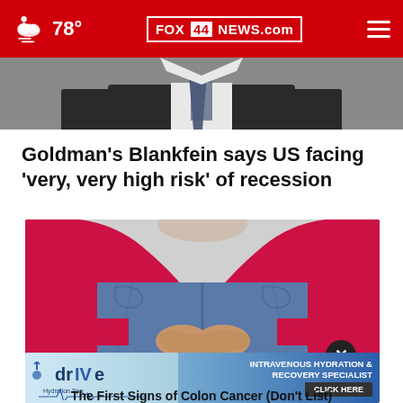78° FOX 44 NEWS.com
[Figure (photo): Partial photo of a man in suit and tie, cropped at top showing lower face/chest area]
Goldman's Blankfein says US facing 'very, very high risk' of recession
[Figure (photo): Person in red long-sleeve shirt and blue jeans, hands clasped together at waist level, viewed from behind/side]
[Figure (other): Advertisement banner: drIVe Hydration Spa - INTRAVENOUS HYDRATION & RECOVERY SPECIALIST - CLICK HERE]
The First Signs of Colon Cancer (Don't List)